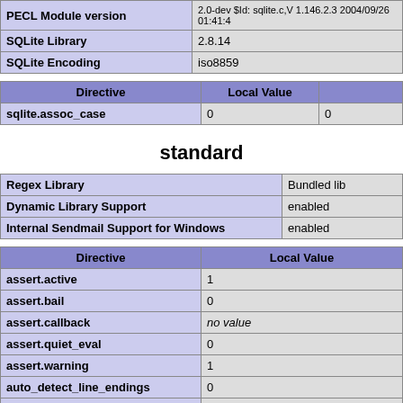| PECL Module version | 2.0-dev $Id: sqlite.c,V 1.146.2.3 2004/09/26 01:41:4 |
| SQLite Library | 2.8.14 |
| SQLite Encoding | iso8859 |
| Directive | Local Value |  |
| --- | --- | --- |
| sqlite.assoc_case | 0 | 0 |
standard
| Regex Library | Bundled lib |
| Dynamic Library Support | enabled |
| Internal Sendmail Support for Windows | enabled |
| Directive | Local Value |
| --- | --- |
| assert.active | 1 |
| assert.bail | 0 |
| assert.callback | no value |
| assert.quiet_eval | 0 |
| assert.warning | 1 |
| auto_detect_line_endings | 0 |
| date.default_latitude | 31.7667 |
| date.default_longitude | 35.2333 |